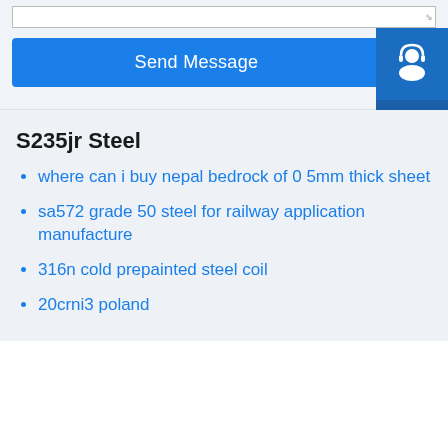[Figure (screenshot): Input text area bar at the top of the page]
[Figure (screenshot): Blue 'Send Message' button]
[Figure (illustration): Sidebar with three dark blue icon boxes: headset/customer support icon, phone with signal waves icon, and Skype logo icon]
S235jr Steel
where can i buy nepal bedrock of 0 5mm thick sheet
sa572 grade 50 steel for railway application manufacture
316n cold prepainted steel coil
20crni3 poland